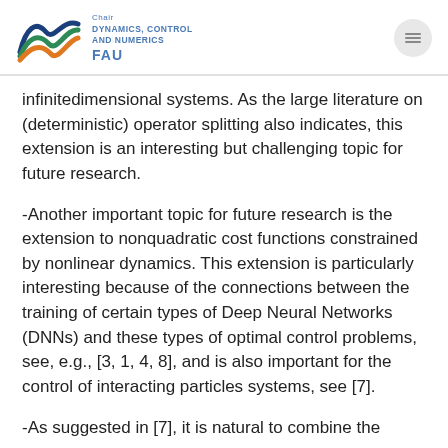Chair DYNAMICS, CONTROL AND NUMERICS FAU
infinitedimensional systems. As the large literature on (deterministic) operator splitting also indicates, this extension is an interesting but challenging topic for future research.
-Another important topic for future research is the extension to nonquadratic cost functions constrained by nonlinear dynamics. This extension is particularly interesting because of the connections between the training of certain types of Deep Neural Networks (DNNs) and these types of optimal control problems, see, e.g., [3, 1, 4, 8], and is also important for the control of interacting particles systems, see [7].
-As suggested in [7], it is natural to combine the